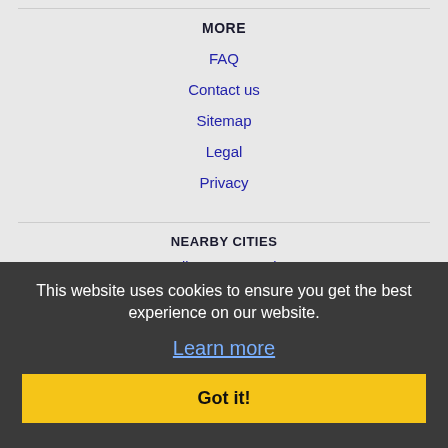MORE
FAQ
Contact us
Sitemap
Legal
Privacy
NEARBY CITIES
Burlington, NC Jobs
Cary, NC Jobs
Chapel Hill, NC Jobs
Durham, NC Jobs
Greensboro, NC Jobs
Greenville, NC Jobs
High Point, NC Jobs
Jacksonville, NC Jobs
This website uses cookies to ensure you get the best experience on our website.
Learn more
Got it!